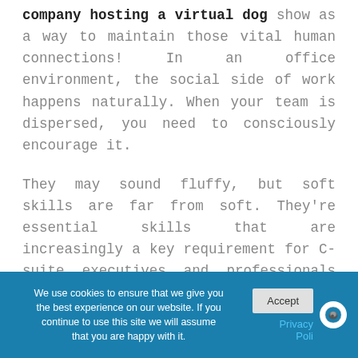company hosting a virtual dog show as a way to maintain those vital human connections! In an office environment, the social side of work happens naturally. When your team is dispersed, you need to consciously encourage it.

They may sound fluffy, but soft skills are far from soft. They're essential skills that are increasingly a key requirement for C-suite executives and professionals across the whole IT sector, as corroborated by LinkedIn's Global Talent Trends 2019 report. It ranks soft skills and flexible working as
We use cookies to ensure that we give you the best experience on our website. If you continue to use this site we will assume that you are happy with it. | Accept | Privacy Poli